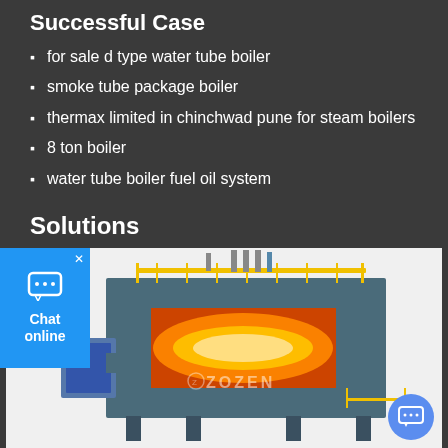Successful Case
for sale d type water tube boiler
smoke tube package boiler
thermax limited in chinchwad pune for steam boilers
8 ton boiler
water tube boiler fuel oil system
Solutions
[Figure (photo): Industrial water tube boiler with yellow railings and visible combustion flame inside a large rectangular furnace, ZOZEN branding visible]